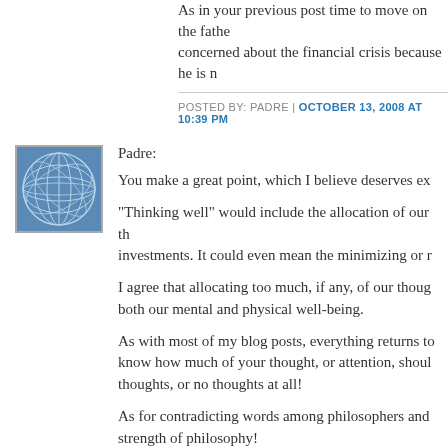As in your previous post time to move on the father concerned about the financial crisis because he is n
POSTED BY: PADRE | OCTOBER 13, 2008 AT 10:39 PM
[Figure (logo): Blue circular globe/sphere logo icon with white grid lines]
Padre:
You make a great point, which I believe deserves ex
"Thinking well" would include the allocation of our th investments. It could even mean the minimizing or r
I agree that allocating too much, if any, of our thoug both our mental and physical well-being.
As with most of my blog posts, everything returns to know how much of your thought, or attention, shoul thoughts, or no thoughts at all!
As for contradicting words among philosophers and strength of philosophy!
Thanks for sharing your thoughts...